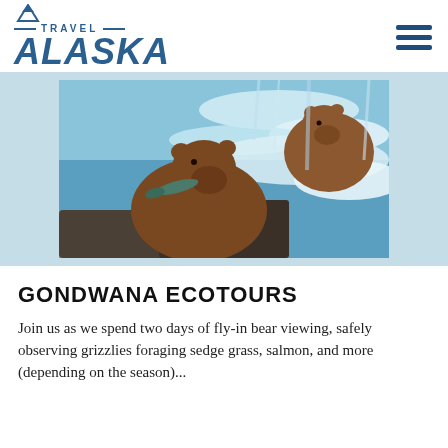TRAVEL ALASKA
[Figure (photo): Two brown grizzly bears fishing at a waterfall, one holding a salmon in its mouth, with rushing white water in the background.]
GONDWANA ECOTOURS
Join us as we spend two days of fly-in bear viewing, safely observing grizzlies foraging sedge grass, salmon, and more (depending on the season)...